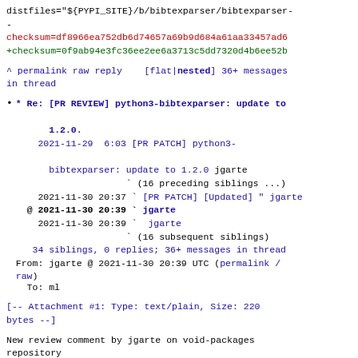distfiles="${PYPI_SITE}/b/bibtexparser/bibtexparser-
checksum=df8966ea752db6d74657a69b9d684a61aa33457ad6
+checksum=0f9ab94e3fc36ee2ee6a3713c5dd7320d4b6ee52b
^ permalink raw reply    [flat|nested] 36+ messages in thread
* Re: [PR REVIEW] python3-bibtexparser: update to 1.2.0.
    2021-11-29  6:03 [PR PATCH] python3-bibtexparser: update to 1.2.0 jgarte
                    ` (16 preceding siblings ...)
    2021-11-30 20:37 ` [PR PATCH] [Updated] " jgarte
  @ 2021-11-30 20:39 ` jgarte
    2021-11-30 20:39   ` jgarte
                        ` (16 subsequent siblings)
    34 siblings, 0 replies; 36+ messages in thread
  From: jgarte @ 2021-11-30 20:39 UTC (permalink / raw)
    To: ml
[-- Attachment #1: Type: text/plain, Size: 220 bytes --]
New review comment by jgarte on void-packages repository
https://github.com/void-linux/void-packages/pull/34299#discussion_r759642091